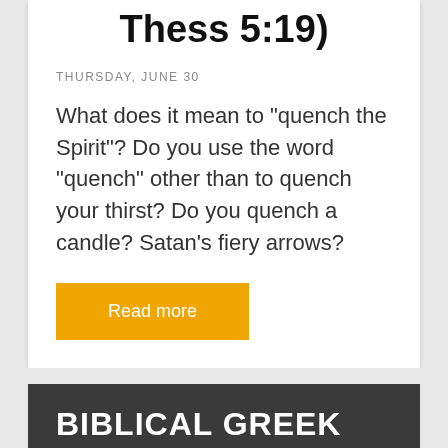Thess 5:19)
THURSDAY, JUNE 30
What does it mean to "quench the Spirit"? Do you use the word "quench" other than to quench your thirst? Do you quench a candle? Satan's fiery arrows?
Read more
BIBLICAL GREEK
Monday with Mounce